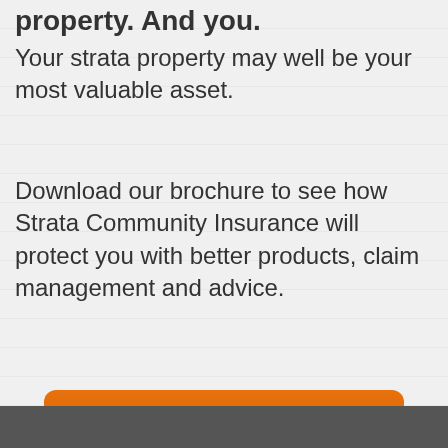property. And you.
Your strata property may well be your most valuable asset.
Download our brochure to see how Strata Community Insurance will protect you with better products, claim management and advice.
[Figure (other): Orange rounded rectangle button with white bold text reading DOWNLOAD NOW]